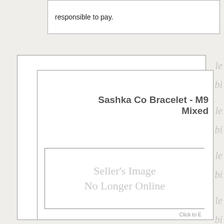responsible to pay.
[Figure (screenshot): A product listing screenshot showing a card with the title 'Sashka Co Bracelet - M9 Mixed' and a placeholder image area reading 'Seller's Image No Longer Online'. Partial text from overlapping cards is visible on the right edge.]
Click to E[xpand]